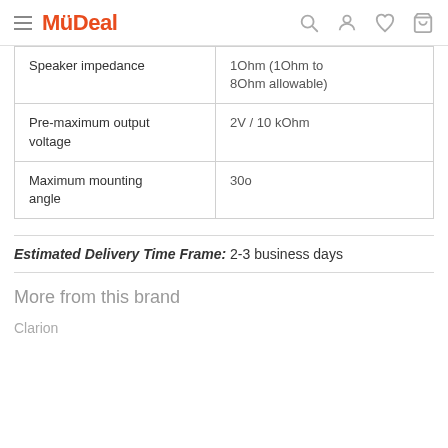MyDeal
| Speaker impedance | 1Ohm (1Ohm to 8Ohm allowable) |
| Pre-maximum output voltage | 2V / 10 kOhm |
| Maximum mounting angle | 30o |
Estimated Delivery Time Frame: 2-3 business days
More from this brand
Clarion